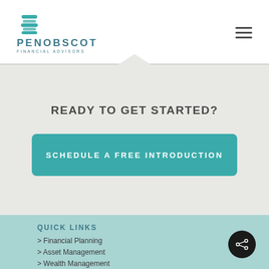[Figure (logo): Penobscot Financial Advisors logo with teal geometric icon above the company name]
READY TO GET STARTED?
SCHEDULE A FREE INTRODUCTION
QUICK LINKS
> Financial Planning
> Asset Management
> Wealth Management